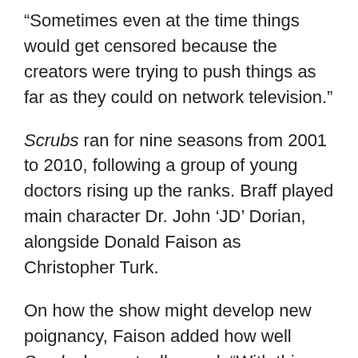“Sometimes even at the time things would get censored because the creators were trying to push things as far as they could on network television.”
Scrubs ran for nine seasons from 2001 to 2010, following a group of young doctors rising up the ranks. Braff played main character Dr. John ‘JD’ Dorian, alongside Donald Faison as Christopher Turk.
On how the show might develop new poignancy, Faison added how well Scrubs has actually aged. “With this whole pandemic going on, right now we should shine a light on all of the people in the medical profession.